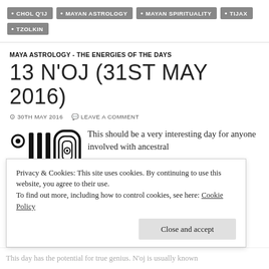CHOL Q'IJ
MAYAN ASTROLOGY
MAYAN SPIRITUALITY
TIJAX
TZOLKIN
MAYA ASTROLOGY - THE ENERGIES OF THE DAYS
13 N'OJ (31ST MAY 2016)
30TH MAY 2016   LEAVE A COMMENT
[Figure (illustration): Mayan glyph illustration showing N'oj symbol in black and white]
This should be a very interesting day for anyone involved with ancestral
Privacy & Cookies: This site uses cookies. By continuing to use this website, you agree to their use. To find out more, including how to control cookies, see here: Cookie Policy
Close and accept
This day has the potential for true genius. N'oj is usually known